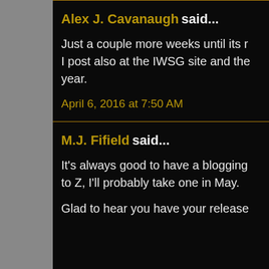Alex J. Cavanaugh said... Just a couple more weeks until its r I post also at the IWSG site and the year.
April 6, 2016 at 7:50 AM
M.J. Fifield said... It's always good to have a blogging to Z, I'll probably take one in May.
Glad to hear you have your release